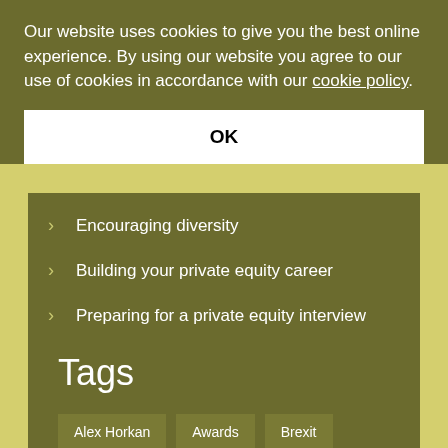Our website uses cookies to give you the best online experience. By using our website you agree to our use of cookies in accordance with our cookie policy.
OK
Encouraging diversity
Building your private equity career
Preparing for a private equity interview
PER in the media
Tags
Alex Horkan
Awards
Brexit
BVCA